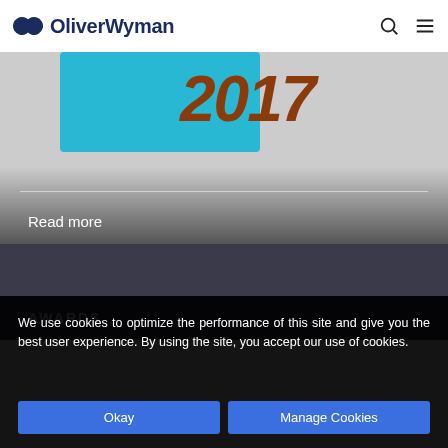OliverWyman
[Figure (photo): Report cover page showing the year 2017 in brown italic text over a cyan box, with a gradient gray background. 'Read more' text appears at the bottom.]
[Figure (photo): Dark textured background image with 'AWARDS' text in white bold uppercase letters at the bottom left.]
We use cookies to optimize the performance of this site and give you the best user experience. By using the site, you accept our use of cookies.
Okay | Manage Cookies